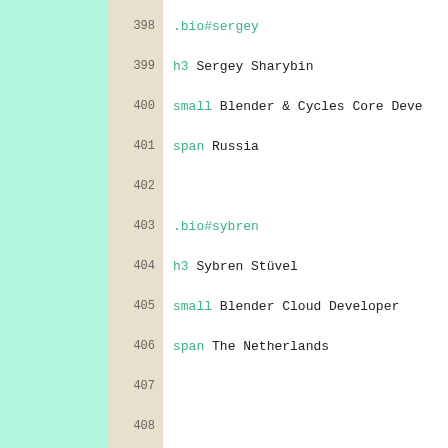398  .bio#sergey
399  h3 Sergey Sharybin
400  small Blender & Cycles Core Deve
401  span Russia
402
403  .bio#sybren
404  h3 Sybren Stüvel
405  small Blender Cloud Developer
406  span The Netherlands
407
408
409  ple-container.online
410  .people-intro
411  h3 Online Collaborators
412  span Contributing to Blender Cl